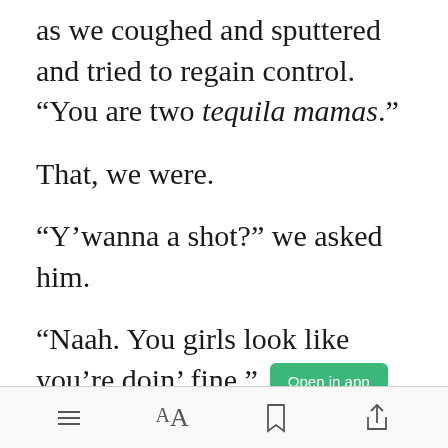as we coughed and sputtered and tried to regain control. “You are two tequila mamas.”
That, we were.
“Y’wanna a shot?” we asked him.
“Naah. You girls look like you’re doin’ fine.”
[Figure (screenshot): Mobile reading app toolbar with list, font size, bookmark, and share icons]